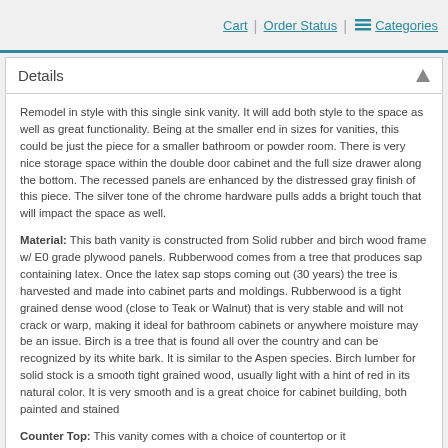Cart | Order Status | Categories
Details
Remodel in style with this single sink vanity. It will add both style to the space as well as great functionality. Being at the smaller end in sizes for vanities, this could be just the piece for a smaller bathroom or powder room. There is very nice storage space within the double door cabinet and the full size drawer along the bottom. The recessed panels are enhanced by the distressed gray finish of this piece. The silver tone of the chrome hardware pulls adds a bright touch that will impact the space as well.
Material: This bath vanity is constructed from Solid rubber and birch wood frame w/ E0 grade plywood panels. Rubberwood comes from a tree that produces sap containing latex. Once the latex sap stops coming out (30 years) the tree is harvested and made into cabinet parts and moldings. Rubberwood is a tight grained dense wood (close to Teak or Walnut) that is very stable and will not crack or warp, making it ideal for bathroom cabinets or anywhere moisture may be an issue. Birch is a tree that is found all over the country and can be recognized by its white bark. It is similar to the Aspen species. Birch lumber for solid stock is a smooth tight grained wood, usually light with a hint of red in its natural color. It is very smooth and is a great choice for cabinet building, both painted and stained
Counter Top: This vanity comes with a choice of countertop or it